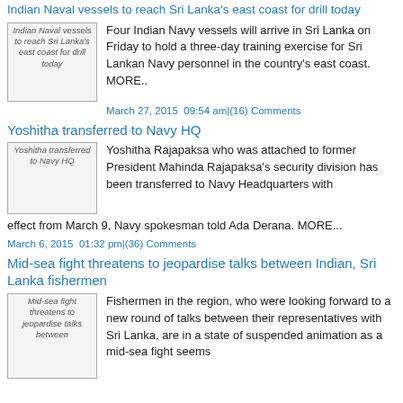Indian Naval vessels to reach Sri Lanka's east coast for drill today
[Figure (photo): Thumbnail image: Indian Naval vessels to reach Sri Lanka's east coast for drill today]
Four Indian Navy vessels will arrive in Sri Lanka on Friday to hold a three-day training exercise for Sri Lankan Navy personnel in the country's east coast. MORE..
March 27, 2015  09:54 am|(16) Comments
Yoshitha transferred to Navy HQ
[Figure (photo): Thumbnail image: Yoshitha transferred to Navy HQ]
Yoshitha Rajapaksa who was attached to former President Mahinda Rajapaksa's security division has been transferred to Navy Headquarters with effect from March 9, Navy spokesman told Ada Derana. MORE...
March 6, 2015  01:32 pm|(36) Comments
Mid-sea fight threatens to jeopardise talks between Indian, Sri Lanka fishermen
[Figure (photo): Thumbnail image: Mid-sea fight threatens to jeopardise talks between Indian, Sri Lanka fishermen]
Fishermen in the region, who were looking forward to a new round of talks between their representatives with Sri Lanka, are in a state of suspended animation as a mid-sea fight seems